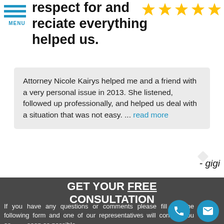reciate everything helped us.
Attorney Nicole Kairys helped me and a friend with a very personal issue in 2013. She listened, followed up professionally, and helped us deal with a situation that was not easy. ... read more
- gigi
GET YOUR FREE CONSULTATION
If you have any questions or comments please fill out the following form and one of our representatives will contact you as soon as possible.